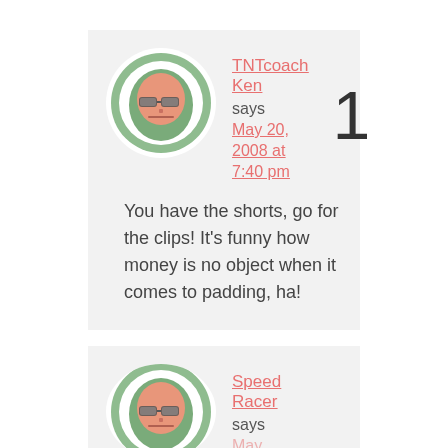[Figure (illustration): Comment card 1: Avatar of cartoon character with green background, pink/salmon face wearing glasses. Username 'TNTcoach Ken' in pink with underline, 'says', date 'May 20, 2008 at 7:40 pm' in pink, number '1' large on right. Comment text: 'You have the shorts, go for the clips! It's funny how money is no object when it comes to padding, ha!']
TNTcoach Ken says May 20, 2008 at 7:40 pm You have the shorts, go for the clips! It's funny how money is no object when it comes to padding, ha!
[Figure (illustration): Comment card 2 (partially visible): Avatar of cartoon character with green background, pink/salmon face wearing glasses. Username 'Speed Racer' in pink with underline, 'says', number '2' partially visible.]
Speed Racer says